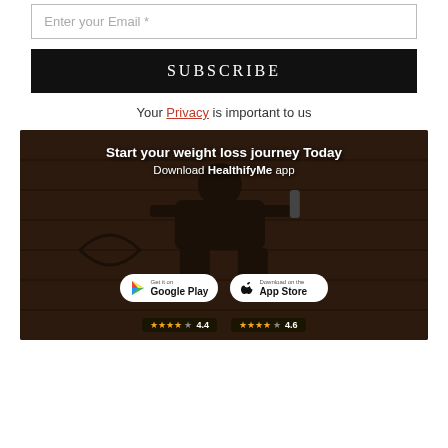Enter your Email *
SUBSCRIBE
Your Privacy is important to us
[Figure (infographic): HealthifyMe app download banner showing a person lying on a wooden floor, with text 'Start your weight loss journey Today - Download HealthifyMe app', Google Play and App Store download buttons, ratings 4.4 (Google Play) and 4.6 (App Store)]